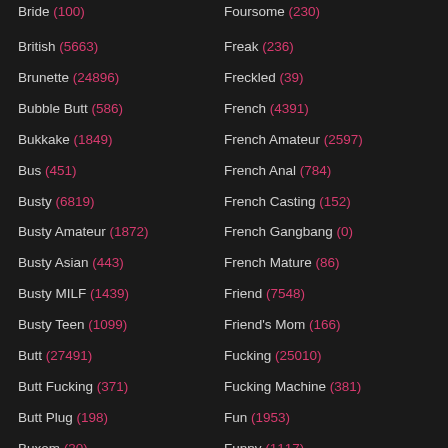Bride (100)
Foursome (230)
British (5663)
Freak (236)
Brunette (24896)
Freckled (39)
Bubble Butt (586)
French (4391)
Bukkake (1849)
French Amateur (2597)
Bus (451)
French Anal (784)
Busty (6819)
French Casting (152)
Busty Amateur (1872)
French Gangbang (0)
Busty Asian (443)
French Mature (86)
Busty MILF (1439)
Friend (7548)
Busty Teen (1099)
Friend's Mom (166)
Butt (27491)
Fucking (25010)
Butt Fucking (371)
Fucking Machine (381)
Butt Plug (198)
Fun (1953)
Buxom (30)
Funny (1117)
CBT (146)
Fur (71)